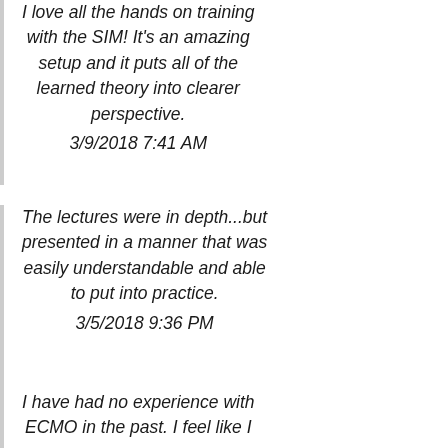I love all the hands on training with the SIM! It's an amazing setup and it puts all of the learned theory into clearer perspective. 3/9/2018 7:41 AM
The lectures were in depth...but presented in a manner that was easily understandable and able to put into practice. 3/5/2018 9:36 PM
I have had no experience with ECMO in the past. I feel like I